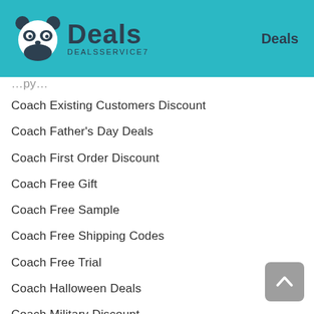Deals — DEALSSERVICE7 | Deals
Coach Existing Customers Discount
Coach Father's Day Deals
Coach First Order Discount
Coach Free Gift
Coach Free Sample
Coach Free Shipping Codes
Coach Free Trial
Coach Halloween Deals
Coach Military Discount
Coach Mother's Day Deals
Coach New Year's Day Deals
Coach NHS Discount
Coach Printable Coupon
Coach Referral Discount